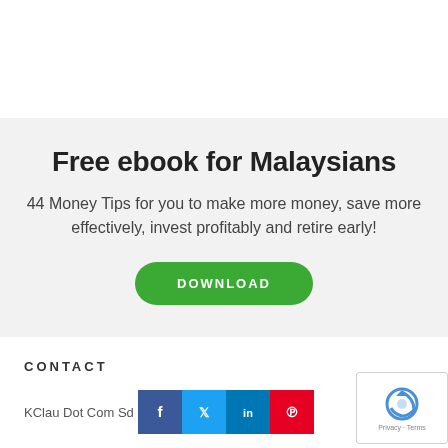Free ebook for Malaysians
44 Money Tips for you to make more money, save more effectively, invest profitably and retire early!
DOWNLOAD
CONTACT
KClau Dot Com Sd
[Figure (infographic): Social media icon buttons: Facebook (blue), Twitter (light blue), LinkedIn (dark blue), Pinterest (red)]
[Figure (other): reCAPTCHA widget with Privacy · Terms text]